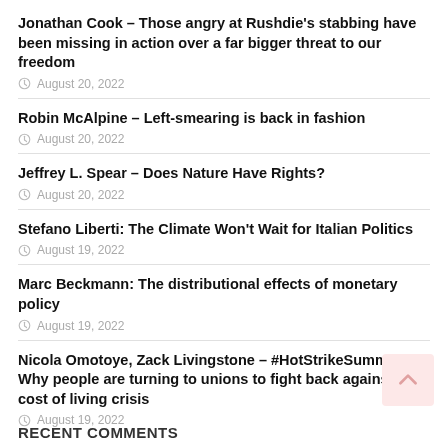Jonathan Cook – Those angry at Rushdie's stabbing have been missing in action over a far bigger threat to our freedom
August 20, 2022
Robin McAlpine – Left-smearing is back in fashion
August 20, 2022
Jeffrey L. Spear – Does Nature Have Rights?
August 20, 2022
Stefano Liberti: The Climate Won't Wait for Italian Politics
August 19, 2022
Marc Beckmann: The distributional effects of monetary policy
August 19, 2022
Nicola Omotoye, Zack Livingstone – #HotStrikeSummer: Why people are turning to unions to fight back against the cost of living crisis
August 19, 2022
RECENT COMMENTS